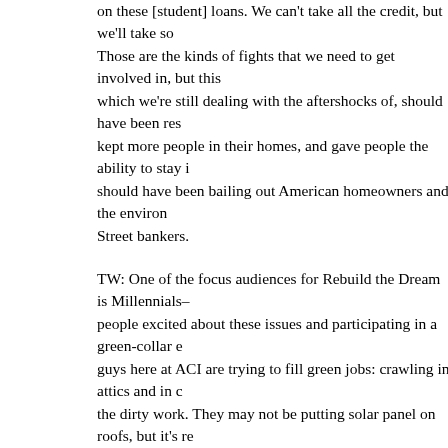on these [student] loans. We can't take all the credit, but we'll take some. Those are the kinds of fights that we need to get involved in, but this recession, which we're still dealing with the aftershocks of, should have been responded to, kept more people in their homes, and gave people the ability to stay in them. We should have been bailing out American homeowners and the environment, not Wall Street bankers.
TW: One of the focus audiences for Rebuild the Dream is Millennials—how do we get people excited about these issues and participating in a green-collar economy? The guys here at ACI are trying to fill green jobs: crawling in attics and in crawl spaces, doing the dirty work. They may not be putting solar panel on roofs, but it's reducing our carbon emissions and earning a good salary. How can we get Millennials excited about HVAC or weatherization jobs?
VJ: Well, I think that different people have different skills and interests. Some people are making apps that are environmentally related, and that's their idea of contributing to a green career, and that's good. Other people are putting up solar panels on rooftops, and others are doing energy efficiency—I count all of it. At some point the rubber hits the road—we have almost half of our energy being consumed by buildings. Eventually the apps and smart phones are plugged into the wall someplace. We're going to have to learn how to make all those buildings more energy efficient.
People always ask, "How do you get people excited about this or that?" There's no one fits all answer. But I think what's key is when you have good employers who create opportunities for people to get to work and come home with a paycheck.